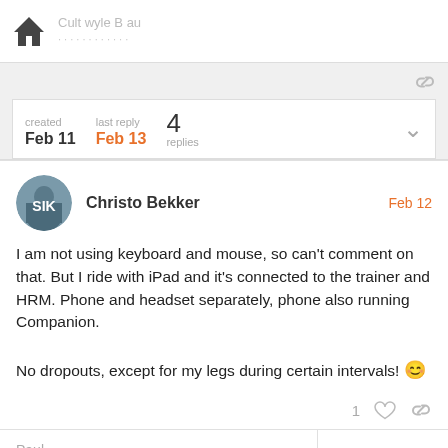Cult wyle B au
created Feb 11   last reply Feb 13   4 replies
Christo Bekker   Feb 12
I am not using keyboard and mouse, so can't comment on that. But I ride with iPad and it's connected to the trainer and HRM. Phone and headset separately, phone also running Companion.

No dropouts, except for my legs during certain intervals!
Paul
Paul_Yoder1
1 / 5